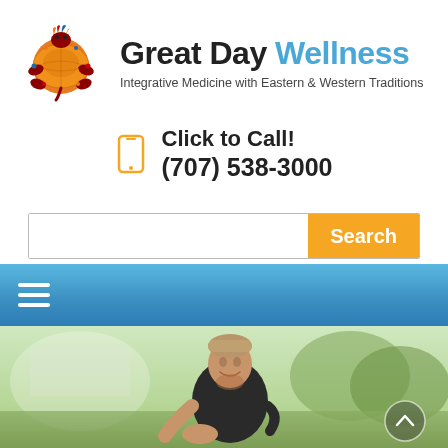[Figure (logo): Great Day Wellness colorful turtle logo]
Great Day Wellness
Integrative Medicine with Eastern & Western Traditions
Click to Call!
(707) 538-3000
[Figure (screenshot): Search bar with orange Search button]
[Figure (infographic): Blue navigation bar with hamburger menu icon]
[Figure (photo): Man smiling outdoors stretching his arm, blurred green background]